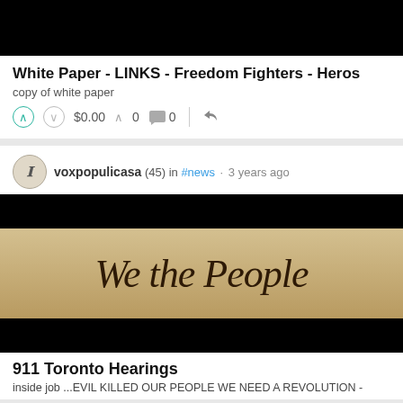[Figure (photo): Black image banner at top of first card]
White Paper - LINKS - Freedom Fighters - Heros
copy of white paper
$0.00  0  0
voxpopulicasa (45) in #news · 3 years ago
[Figure (photo): Image showing 'We the People' text from the US Constitution parchment, with black bars at top and bottom]
911 Toronto Hearings
inside job ...EVIL KILLED OUR PEOPLE WE NEED A REVOLUTION -